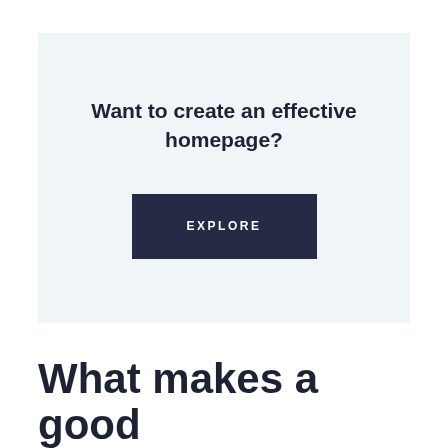[Figure (screenshot): A light blue-gray call-to-action box with the heading 'Want to create an effective homepage?' and a dark navy 'EXPLORE' button below.]
What makes a good